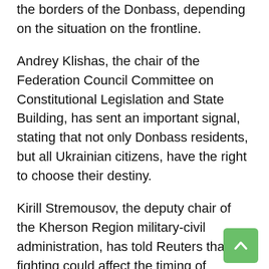the borders of the Donbass, depending on the situation on the frontline.
Andrey Klishas, the chair of the Federation Council Committee on Constitutional Legislation and State Building, has sent an important signal, stating that not only Donbass residents, but all Ukrainian citizens, have the right to choose their destiny.
Kirill Stremousov, the deputy chair of the Kherson Region military-civil administration, has told Reuters that the fighting could affect the timing of Kherson's formal plan to join Russia, and a decision is likely "towards next year." He didn't rule out the possibility of holding a referendum. In early May, however, he insisted there would be "no referendums," accusing Ukraine of "spreading fakes" about Russian plans to vote on the establishment of a Kherson People's Republic.